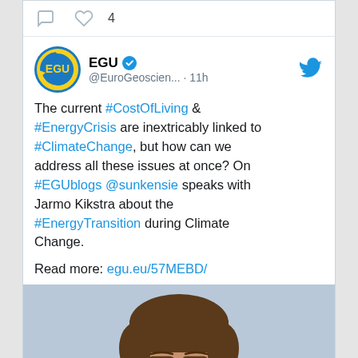[Figure (screenshot): Twitter/social media tweet from EGU (@EuroGeoscien...) posted 11 hours ago. Contains comment and heart (4 likes) icons at top. EGU logo (blue circle with yellow EGU text), verified badge, Twitter bird icon. Tweet text about #CostOfLiving, #EnergyCrisis, #ClimateChange, #EGUblogs, @sunkensie, Jarmo Kikstra, #EnergyTransition. Read more link: egu.eu/57MEBD/. Photo of a man with brown hair and glasses below.]